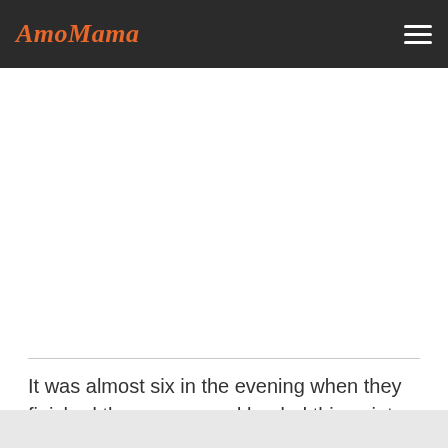AmoMama
It was almost six in the evening when they finished the grocery and loaded things into the car. Just as they